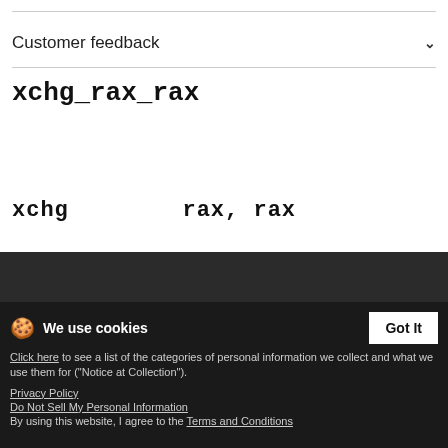Customer feedback
xchg_rax_rax
xchg        rax, rax
Tags
xorpd   xchg   x86   x64   rax   amd   intel
We use cookies
Click here to see a list of the categories of personal information we collect and what we use them for ("Notice at Collection").
Privacy Policy
Do Not Sell My Personal Information
By using this website, I agree to the Terms and Conditions